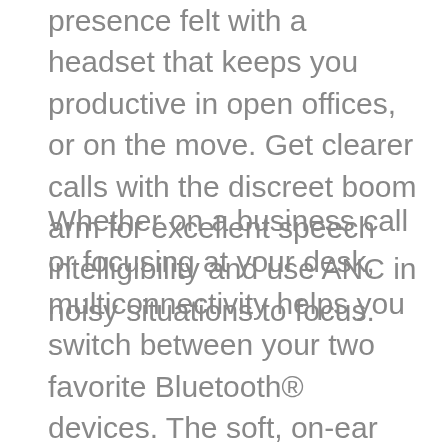presence felt with a headset that keeps you productive in open offices, or on the move. Get clearer calls with the discreet boom arm for excellent speech intelligibility and use ANC in noisy situations to focus.
Whether on a business call or focusing at your desk, multiconnectivity helps you switch between your two favorite Bluetooth® devices. The soft, on-ear wearing style creates all-day comfort and the portable design gives you a handy, stylish, yet business grade audio tool. UC optimized and Microsoft Teams certified, the ADAPT 500 Series delivers